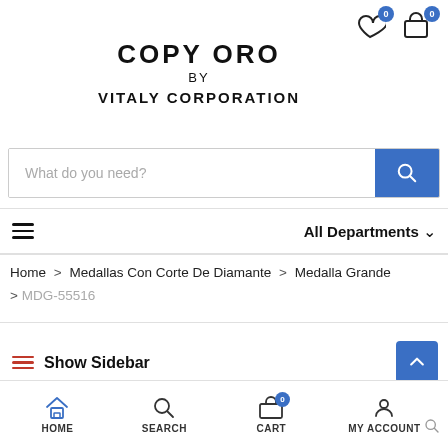COPY ORO BY VITALY CORPORATION
What do you need?
All Departments
Home > Medallas Con Corte De Diamante > Medalla Grande > MDG-55516
Show Sidebar
HOME   SEARCH   CART   MY ACCOUNT